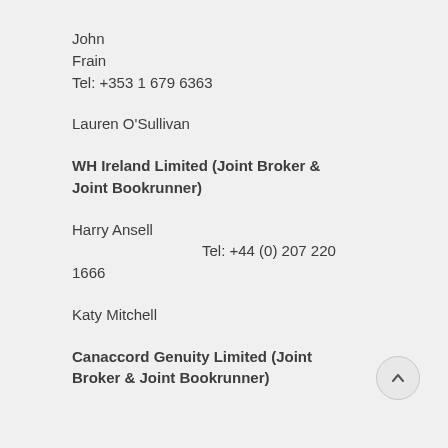John
Frain
Tel: +353 1 679 6363
Lauren O'Sullivan
WH Ireland Limited (Joint Broker & Joint Bookrunner)
Harry Ansell
Tel: +44 (0) 207 220 1666
Katy Mitchell
Canaccord Genuity Limited (Joint Broker & Joint Bookrunner)